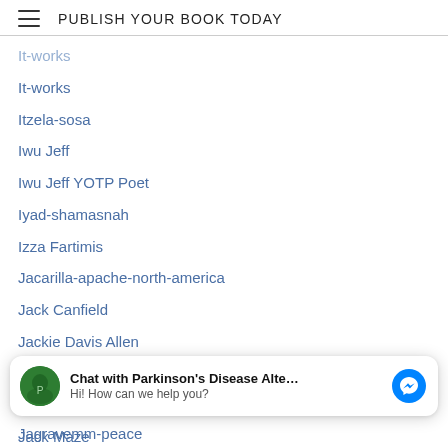PUBLISH YOUR BOOK TODAY
It-works
Itzela-sosa
Iwu Jeff
Iwu Jeff YOTP Poet
Iyad-shamasnah
Izza Fartimis
Jacarilla-apache-north-america
Jack Canfield
Jackie Davis Allen
Jackie Mead (UK)
Jack Kessler
Jack Maze
Jacob-edwards
[Figure (screenshot): Chat widget: Chat with Parkinson's Disease Alte... Hi! How can we help you?]
Jagravemm-peace